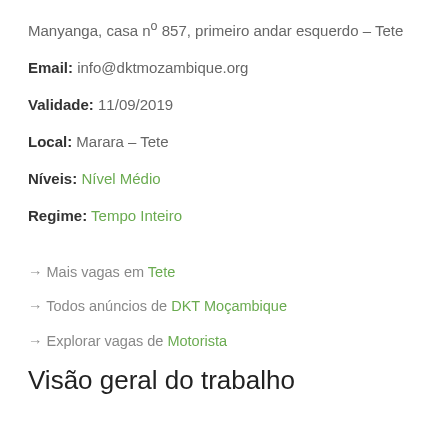Manyanga, casa nº 857, primeiro andar esquerdo – Tete
Email: info@dktmozambique.org
Validade: 11/09/2019
Local: Marara – Tete
Níveis: Nível Médio
Regime: Tempo Inteiro
→ Mais vagas em Tete
→ Todos anúncios de DKT Moçambique
→ Explorar vagas de Motorista
Visão geral do trabalho